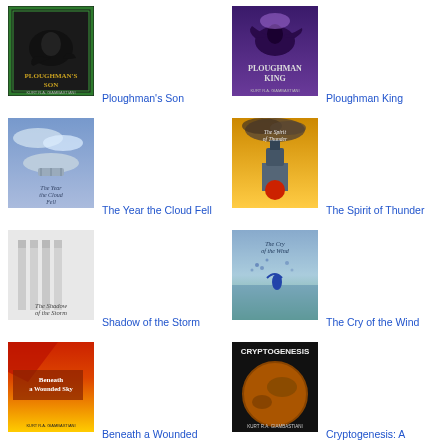[Figure (illustration): Book cover: Ploughman's Son by Kurt R.A. Giambastiani, featuring a raven on dark background]
Ploughman's Son
[Figure (illustration): Book cover: Ploughman King by Kurt R.A. Giambastiani, featuring a raven on purple/dark background]
Ploughman King
[Figure (illustration): Book cover: The Year the Cloud Fell, featuring a zeppelin/airship on light blue background]
The Year the Cloud Fell
[Figure (illustration): Book cover: The Spirit of Thunder, featuring a train/locomotive with smoke on golden background]
The Spirit of Thunder
[Figure (illustration): Book cover: Shadow of the Storm, featuring pillars on grey/white background]
Shadow of the Storm
[Figure (illustration): Book cover: The Cry of the Wind, featuring a figure on blue/green background]
The Cry of the Wind
[Figure (illustration): Book cover: Beneath a Wounded Sky, featuring red and yellow gradient design]
Beneath a Wounded
[Figure (illustration): Book cover: Cryptogenesis: A, featuring planet/sphere on dark background]
Cryptogenesis: A